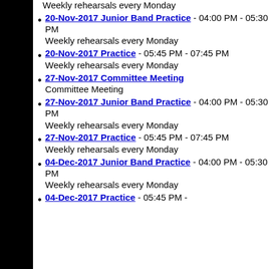Weekly rehearsals every Monday
20-Nov-2017 Junior Band Practice - 04:00 PM - 05:30 PM
Weekly rehearsals every Monday
20-Nov-2017 Practice - 05:45 PM - 07:45 PM
Weekly rehearsals every Monday
27-Nov-2017 Committee Meeting
Committee Meeting
27-Nov-2017 Junior Band Practice - 04:00 PM - 05:30 PM
Weekly rehearsals every Monday
27-Nov-2017 Practice - 05:45 PM - 07:45 PM
Weekly rehearsals every Monday
04-Dec-2017 Junior Band Practice - 04:00 PM - 05:30 PM
Weekly rehearsals every Monday
04-Dec-2017 Practice - 05:45 PM -